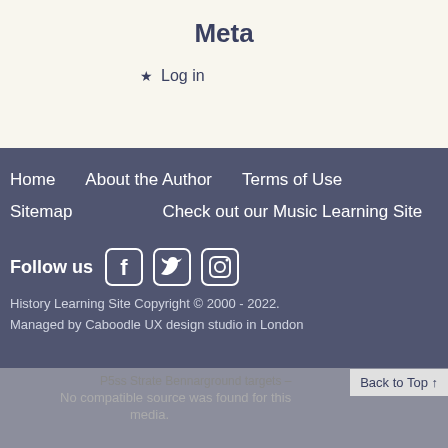Meta
★  Log in
Home    About the Author    Terms of Use
Sitemap    Check out our Music Learning Site
Follow us
[Figure (illustration): Facebook, Twitter, and Instagram social media icons in white on dark background]
History Learning Site Copyright © 2000 - 2022.
Managed by Caboodle UX design studio in London
No compatible source was found for this media.
Back to Top ↑